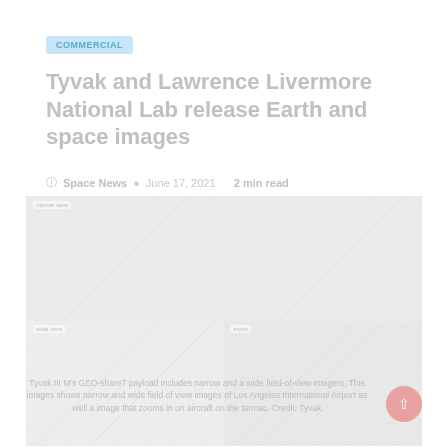COMMERCIAL
Tyvak and Lawrence Livermore National Lab release Earth and space images
Space News  June 17, 2021  2 min read
[Figure (photo): Satellite imagery mosaic showing narrow and wide field-of-view images of Los Angeles International Airport, with a zoomed inset of aircraft on the tarmac. Credit: Tyvak]
Tyvak III M's GEO-share7 payload includes narrow and a wide field-of-view imagers. This images shows narrow and wide field of view images of Los Angeles International Airport as well a image that zooms in on aircraft on the tarmac. Credit: Tyvak